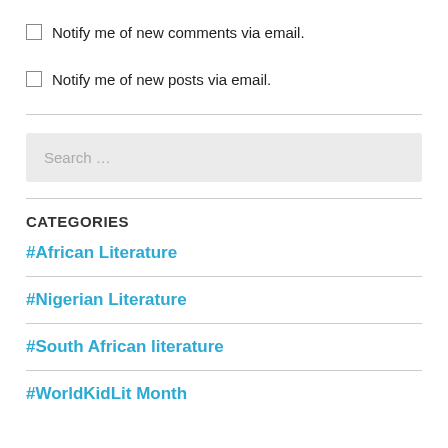Notify me of new comments via email.
Notify me of new posts via email.
CATEGORIES
#African Literature
#Nigerian Literature
#South African literature
#WorldKidLit Month